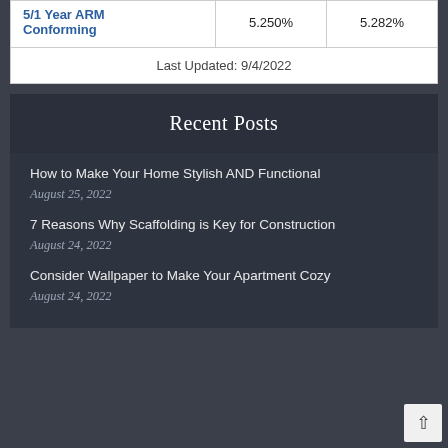| Product | Rate | APR |
| --- | --- | --- |
| 5/1 Year ARM Conforming | 5.250% | 5.282% |
| Last Updated: 9/4/2022 |  |  |
Recent Posts
How to Make Your Home Stylish AND Functional
August 25, 2022
7 Reasons Why Scaffolding is Key for Construction
August 24, 2022
Consider Wallpaper to Make Your Apartment Cozy
August 24, 2022